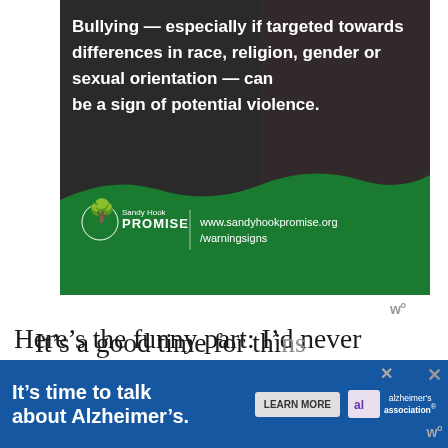[Figure (infographic): Sandy Hook Promise advertisement showing text 'Bullying — especially if targeted towards differences in race, religion, gender or sexual orientation — can be a sign of potential violence.' with green wave background and Sandy Hook Promise logo and website URL www.sandyhookpromise.org/warningsigns]
Here's the funny part: I'd never considered that life gives out "vocational hints" until I start working on that Shadow Day speech— which means that sometimes public speaking gives you new insights.
[Figure (infographic): Alzheimer's Association advertisement: 'It's time to talk about Alzheimer's.' with LEARN MORE button and Alzheimer's association logo]